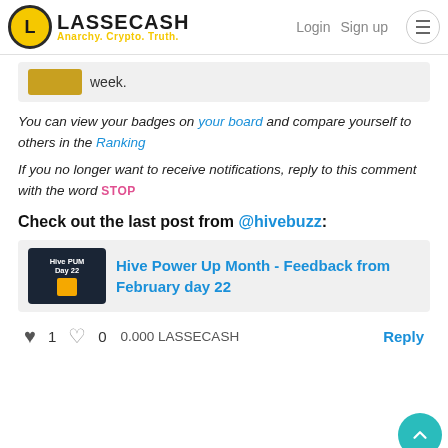LASSECASH – Anarchy. Crypto. Truth. | Login | Sign up
week.
You can view your badges on your board and compare yourself to others in the Ranking
If you no longer want to receive notifications, reply to this comment with the word STOP
Check out the last post from @hivebuzz:
Hive Power Up Month - Feedback from February day 22
1   0   0.000 LASSECASH   Reply